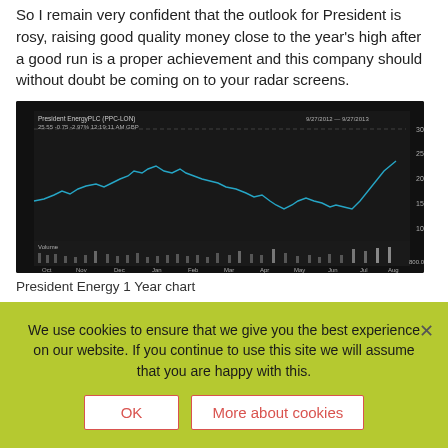So I remain very confident that the outlook for President is rosy, raising good quality money close to the year's high after a good run is a proper achievement and this company should without doubt be coming on to your radar screens.
[Figure (continuous-plot): President Energy PLC 1 Year stock price chart showing price in GBP from Oct 2012 to Sep 2013, dark background, blue line chart with volume bars at bottom.]
President Energy 1 Year chart
Northern Petroleum
We use cookies to ensure that we give you the best experience on our website. If you continue to use this site we will assume that you are happy with this.